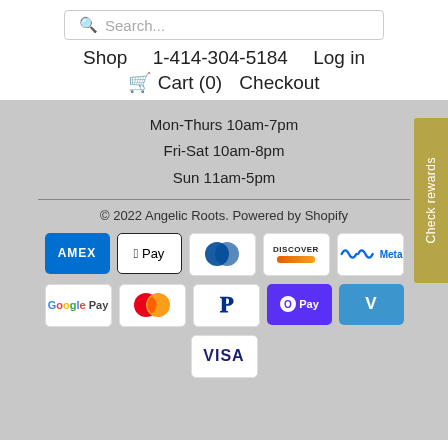Search...
Shop  1-414-304-5184  Log in
🛒 Cart (0)  Checkout
Mon-Thurs 10am-7pm
Fri-Sat 10am-8pm
Sun 11am-5pm
© 2022 Angelic Roots. Powered by Shopify
[Figure (other): Payment method icons: AMEX, Apple Pay, Diners Club, Discover, Meta Pay, Google Pay, Mastercard, PayPal, Shop Pay, Venmo, Visa]